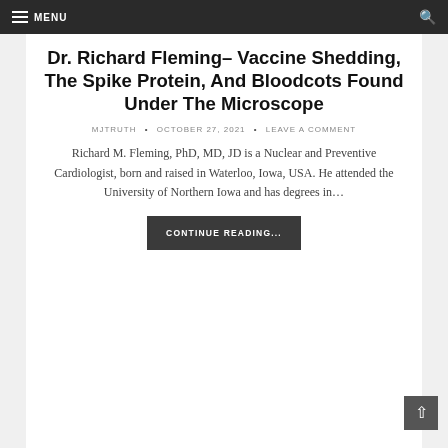MENU
Dr. Richard Fleming– Vaccine Shedding, The Spike Protein, And Bloodcots Found Under The Microscope
MJTRUTH · OCTOBER 27, 2021 · LEAVE A COMMENT
Richard M. Fleming, PhD, MD, JD is a Nuclear and Preventive Cardiologist, born and raised in Waterloo, Iowa, USA. He attended the University of Northern Iowa and has degrees in…
CONTINUE READING...